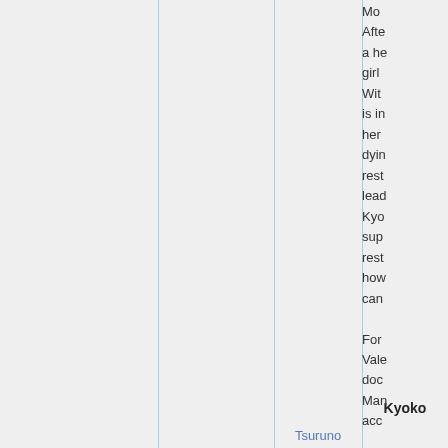Mo...
After a he... girl ... With... is in... her ... dying rest... lead... Kyo... sup... rest... how... can...
For Vale... doc... Man... acc...
Kyoko
Tsuruno